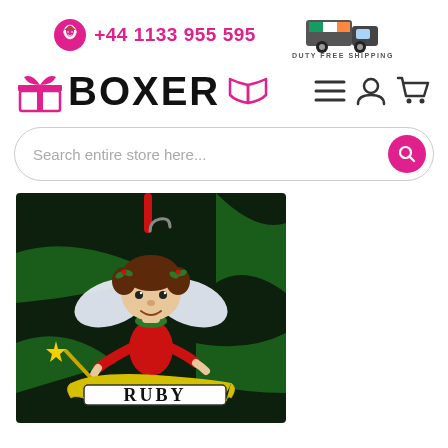+44 1133 955 595 | DUTY FREE SHIPPING
[Figure (logo): Boxer Gifts logo with gift box icon on left and open book icon on right, text BOXER in bold black]
[Figure (other): Search bar with placeholder 'Search entire store here...' and pink search button]
[Figure (photo): Photo of a Christmas fairy ornament named RUBY with brown hair, white wings, red dress, yellow wand, hanging on a Christmas tree. A yellow banner reads RUBY.]